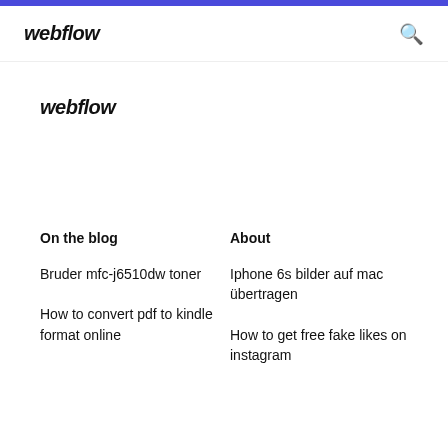webflow
webflow
On the blog
About
Bruder mfc-j6510dw toner
Iphone 6s bilder auf mac übertragen
How to convert pdf to kindle format online
How to get free fake likes on instagram